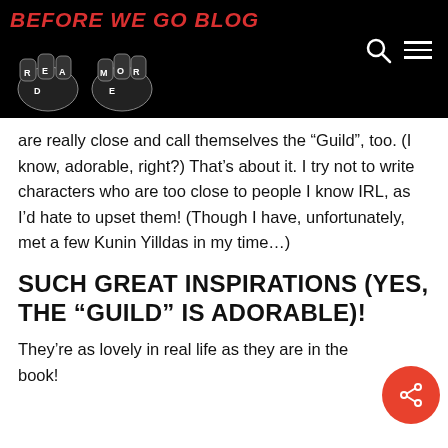BEFORE WE GO BLOG
[Figure (logo): Before We Go Blog logo with two fists spelling READ MORE]
are really close and call themselves the “Guild”, too. (I know, adorable, right?) That’s about it. I try not to write characters who are too close to people I know IRL, as I’d hate to upset them! (Though I have, unfortunately, met a few Kunin Yilldas in my time…)
SUCH GREAT INSPIRATIONS (YES, THE “GUILD” IS ADORABLE)!
They’re as lovely in real life as they are in the book!